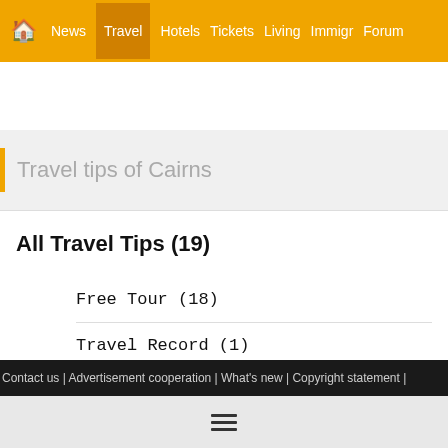🏠 News  Travel  Hotels  Tickets  Living  Immigr  Forum
Travel tips of Cairns
All Travel Tips (19)
Free Tour (18)
Travel Record (1)
Contact us | Advertisement cooperation | What's new | Copyright statement |